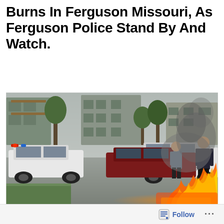Burns In Ferguson Missouri, As Ferguson Police Stand By And Watch.
[Figure (photo): Outdoor street scene showing three police officers standing near police cars on a road, with apartment buildings visible in the background. In the foreground at the bottom right, there is visible fire and orange smoke/flames burning on the ground. The scene appears to be during civil unrest in Ferguson, Missouri.]
Follow ...